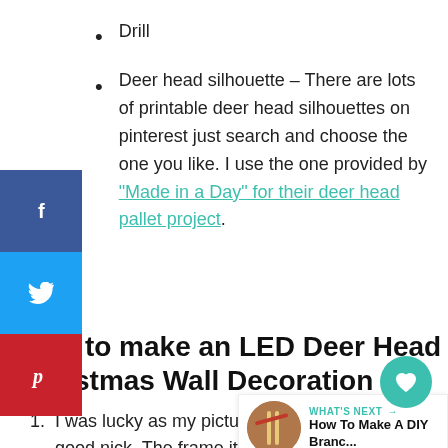Drill
Deer head silhouette – There are lots of printable deer head silhouettes on pinterest just search and choose the one you like. I use the one provided by "Made in a Day" for their deer head pallet project.
How to make an LED Deer Head Christmas Wall Decoration
1. I was lucky as my picture frame was relatively good nick. The frame itself was a gold